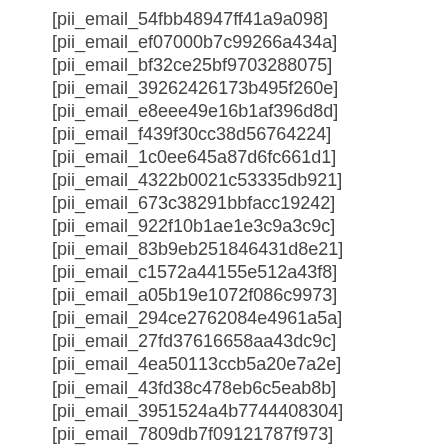[pii_email_54fbb48947ff41a9a098]
[pii_email_ef07000b7c99266a434a]
[pii_email_bf32ce25bf9703288075]
[pii_email_39262426173b495f260e]
[pii_email_e8eee49e16b1af396d8d]
[pii_email_f439f30cc38d56764224]
[pii_email_1c0ee645a87d6fc661d1]
[pii_email_4322b0021c53335db921]
[pii_email_673c38291bbfacc19242]
[pii_email_922f10b1ae1e3c9a3c9c]
[pii_email_83b9eb251846431d8e21]
[pii_email_c1572a44155e512a43f8]
[pii_email_a05b19e1072f086c9973]
[pii_email_294ce2762084e4961a5a]
[pii_email_27fd37616658aa43dc9c]
[pii_email_4ea50113ccb5a20e7a2e]
[pii_email_43fd38c478eb6c5eab8b]
[pii_email_3951524a4b7744408304]
[pii_email_7809db7f09121787f973]